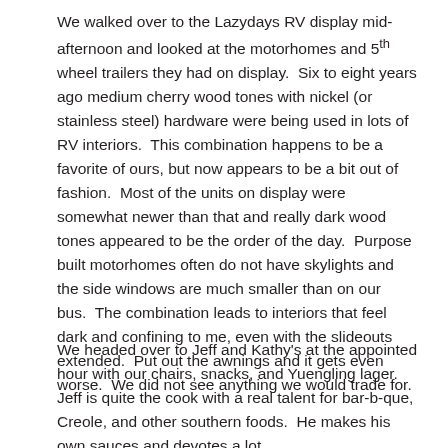We walked over to the Lazydays RV display mid-afternoon and looked at the motorhomes and 5th wheel trailers they had on display.  Six to eight years ago medium cherry wood tones with nickel (or stainless steel) hardware were being used in lots of RV interiors.  This combination happens to be a favorite of ours, but now appears to be a bit out of fashion.  Most of the units on display were somewhat newer than that and really dark wood tones appeared to be the order of the day.  Purpose built motorhomes often do not have skylights and the side windows are much smaller than on our bus.  The combination leads to interiors that feel dark and confining to me, even with the slideouts extended.  Put out the awnings and it gets even worse.  We did not see anything we would trade for.
We headed over to Jeff and Kathy's at the appointed hour with our chairs, snacks, and Yuengling lager.  Jeff is quite the cook with a real talent for bar-b-que, Creole, and other southern foods.  He makes his own sauces and devotes a lot